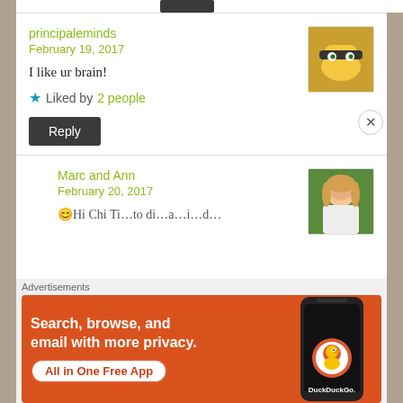[Figure (screenshot): Top bar with dark avatar placeholder button]
principaleminds
February 19, 2017
I like ur brain!
★ Liked by 2 people
Reply
[Figure (photo): User avatar - cartoon minion-like figure with sunglasses]
Marc and Ann
February 20, 2017
[Figure (photo): User avatar - woman with blonde hair outdoors]
Advertisements
[Figure (screenshot): DuckDuckGo advertisement banner: Search, browse, and email with more privacy. All in One Free App. Shows a smartphone with the DuckDuckGo logo.]